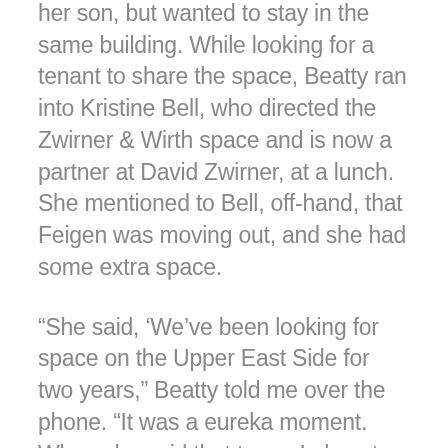her son, but wanted to stay in the same building. While looking for a tenant to share the space, Beatty ran into Kristine Bell, who directed the Zwirner & Wirth space and is now a partner at David Zwirner, at a lunch. She mentioned to Bell, off-hand, that Feigen was moving out, and she had some extra space.
“She said, ‘We’ve been looking for space on the Upper East Side for two years,” Beatty told me over the phone. “It was a eureka moment. When she said that to me I almost fell over. I said, ‘Well, shall we go over there after lunch?’ “